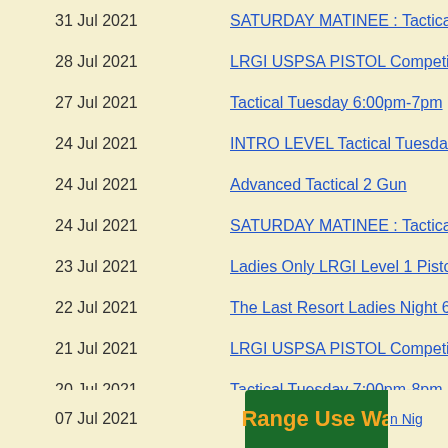31 Jul 2021 | SATURDAY MATINEE : Tactical Tuesd...
28 Jul 2021 | LRGI USPSA PISTOL Competition Nig...
27 Jul 2021 | Tactical Tuesday 6:00pm-7pm
24 Jul 2021 | INTRO LEVEL Tactical Tuesday 10:45...
24 Jul 2021 | Advanced Tactical 2 Gun
24 Jul 2021 | SATURDAY MATINEE : Tactical Tuesd...
23 Jul 2021 | Ladies Only LRGI Level 1 Pistol Cours...
22 Jul 2021 | The Last Resort Ladies Night 6:10 pm ...
21 Jul 2021 | LRGI USPSA PISTOL Competition Nig...
20 Jul 2021 | Tactical Tuesday 7:00pm-8pm
20 Jul 2021 | Tactical Tuesday 6:00pm-7pm
17 Jul 2021 | Tactical Matinee with Rifles 9:30am-10...
17 Jul 2021 | SATURDAY MATINEE : Tactical Tuesd...
14 Jul 2021 | LRGI USPSA PISTOL Competition Nig...
13 Jul 2021 | Tactical Tuesday 6:00pm-7pm
10 Jul 2021 | INTRO LEVEL Tactical Tuesday 10:45...
10 Jul 2021 | SATURDAY MATINEE : Tactical Tuesd...
09 Jul 2021 | LRGI Level One(Basic) Pistol Course
07 Jul 2021 | ...n Nig...